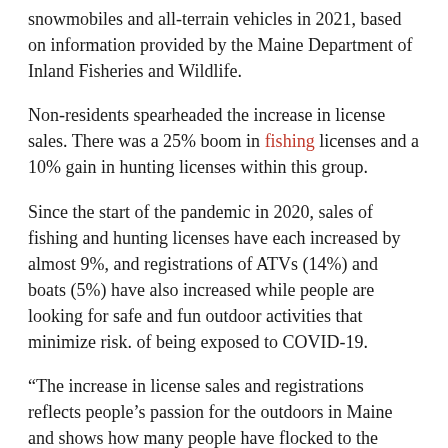snowmobiles and all-terrain vehicles in 2021, based on information provided by the Maine Department of Inland Fisheries and Wildlife.
Non-residents spearheaded the increase in license sales. There was a 25% boom in fishing licenses and a 10% gain in hunting licenses within this group.
Since the start of the pandemic in 2020, sales of fishing and hunting licenses have each increased by almost 9%, and registrations of ATVs (14%) and boats (5%) have also increased while people are looking for safe and fun outdoor activities that minimize risk. of being exposed to COVID-19.
“The increase in license sales and registrations reflects people’s passion for the outdoors in Maine and shows how many people have flocked to the outdoors during the pandemic,” said DIF&W Commissioner Judy Camuso. “Time spent outdoors is restorative, healthy and fulfilling.”
DIF&W spokesperson Mark Latti noted that data on fishing and hunting licenses is incomplete and does not include lifetime and